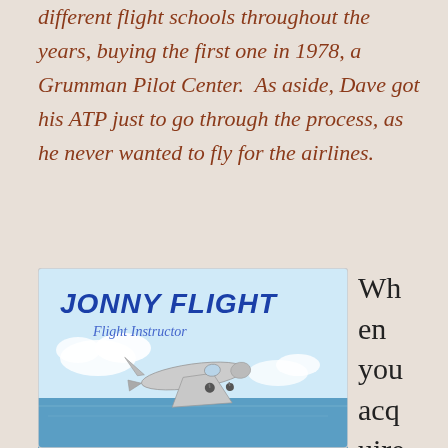different flight schools throughout the years, buying the first one in 1978, a Grumman Pilot Center.  As aside, Dave got his ATP just to go through the process, as he never wanted to fly for the airlines.
[Figure (illustration): Jonny Flight Flight Instructor logo with a small Cessna-style airplane flying over blue water and clouds. Text reads JONNY FLIGHT in bold blue, Flight Instructor in cursive below.]
When you acquire